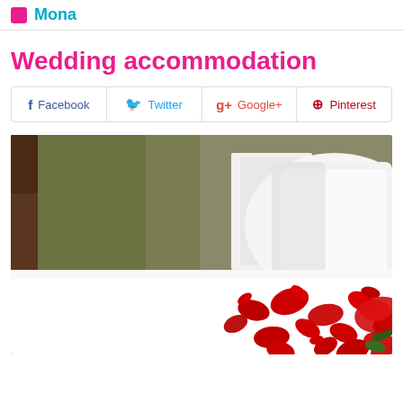Mona
Wedding accommodation
Facebook  Twitter  Google+  Pinterest
[Figure (photo): Hotel room with a white bed covered in red rose petals, white pillows, wooden nightstand with a lamp, and decorative wallpaper in the background.]